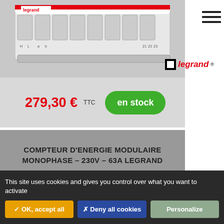[Figure (photo): Legrand modular energy meter device, white/grey DIN rail device with multiple terminals and zones labeled H, L, a, b, 1-5, Z1, Z2, Z3, with Legrand branding]
legrand
279,30 € TTC
en stock
COMPTEUR D'ENERGIE MODULAIRE MONOPHASE – 230V – 63A LEGRAND
[Figure (photo): Legrand monophase modular energy meter device, white unit with terminals labeled CH1 JL, CI2 JL, SCS on DIN rail]
This site uses cookies and gives you control over what you want to activate
✓ OK, accept all
✗ Deny all cookies
Personalize